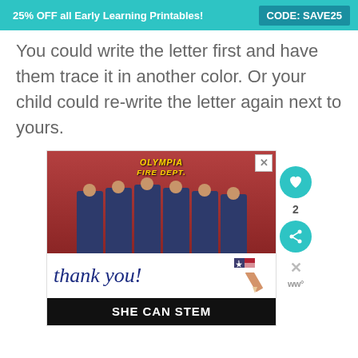25% OFF all Early Learning Printables!   CODE: SAVE25
You could write the letter first and have them trace it in another color. Or your child could re-write the letter again next to yours.
[Figure (photo): Advertisement showing firefighters from Olympia Fire Department standing in front of a fire truck holding items, with a 'thank you!' handwritten text and a pencil with an American flag, and a 'SHE CAN STEM' banner at the bottom.]